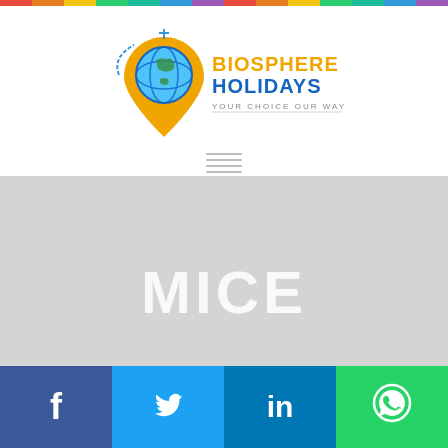[Figure (logo): Biosphere Holidays logo — location pin with globe icon, text 'BIOSPHERE HOLIDAYS YOUR CHOICE OUR WAY' in orange and blue]
[Figure (other): Hamburger menu icon (three horizontal lines)]
MICE
[Figure (other): Social media bar with Facebook, Twitter, LinkedIn, and WhatsApp icons]